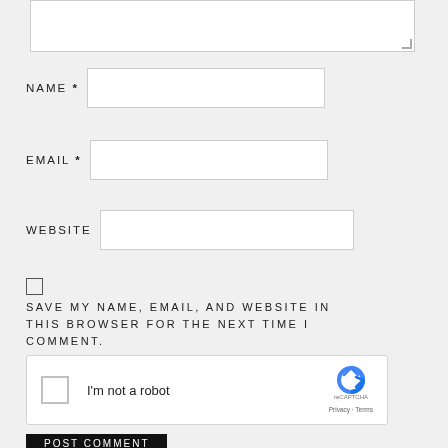[Figure (screenshot): Textarea input field (comment box), partially visible at top of page]
NAME *
[Figure (screenshot): Name text input field]
EMAIL *
[Figure (screenshot): Email text input field]
WEBSITE
[Figure (screenshot): Website text input field]
[Figure (screenshot): Checkbox (unchecked)]
SAVE MY NAME, EMAIL, AND WEBSITE IN THIS BROWSER FOR THE NEXT TIME I COMMENT.
[Figure (screenshot): reCAPTCHA widget with checkbox and logo. Text: I'm not a robot. reCAPTCHA. Privacy - Terms.]
POST COMMENT